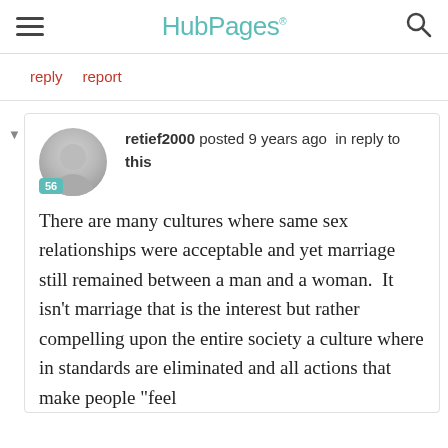HubPages
reply   report
retief2000 posted 9 years ago in reply to this
There are many cultures where same sex relationships were acceptable and yet marriage still remained between a man and a woman.  It isn't marriage that is the interest but rather compelling upon the entire society a culture where in standards are eliminated and all actions that make people "feel